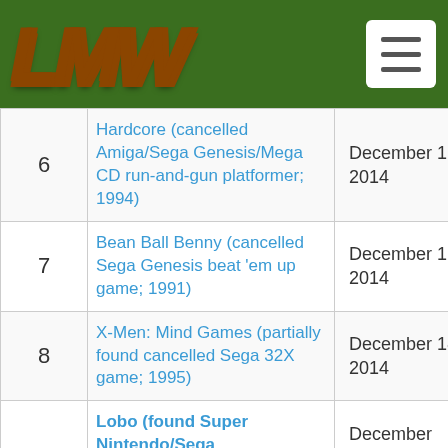LMW
| # | Title | Date |
| --- | --- | --- |
| 6 | Hardcore (cancelled Amiga/Sega Genesis/Mega CD run-and-gun platformer; 1994) | December 1, 2014 |
| 7 | Bean Ball Benny (cancelled Sega Genesis beat 'em up game; 1991) | December 1, 2014 |
| 8 | X-Men: Mind Games (partially found cancelled Sega 32X game; 1995) | December 18, 2014 |
|  | Lobo (found Super Nintendo/Sega... | December... |